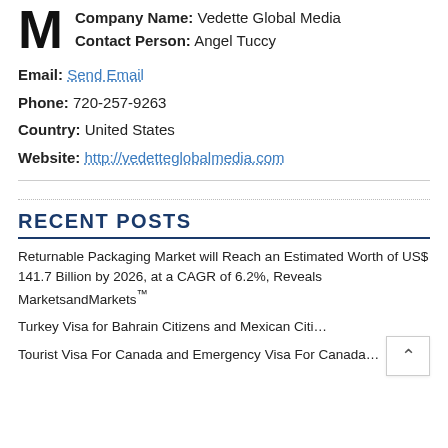Company Name: Vedette Global Media
Contact Person: Angel Tuccy
Email: Send Email
Phone: 720-257-9263
Country: United States
Website: http://vedetteglobalmedia.com
RECENT POSTS
Returnable Packaging Market will Reach an Estimated Worth of US$ 141.7 Billion by 2026, at a CAGR of 6.2%, Reveals MarketsandMarkets™
Turkey Visa for Bahrain Citizens and Mexican Citi…
Tourist Visa For Canada and Emergency Visa For Canada…